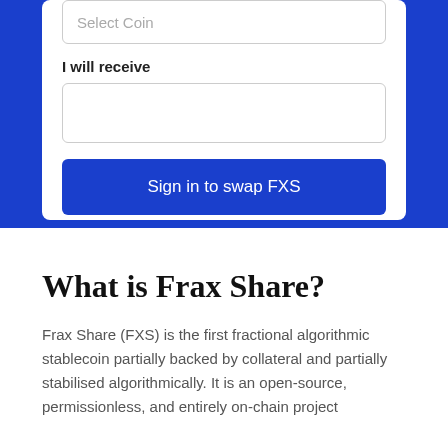Select Coin
I will receive
Sign in to swap FXS
What is Frax Share?
Frax Share (FXS) is the first fractional algorithmic stablecoin partially backed by collateral and partially stabilised algorithmically. It is an open-source, permissionless, and entirely on-chain project